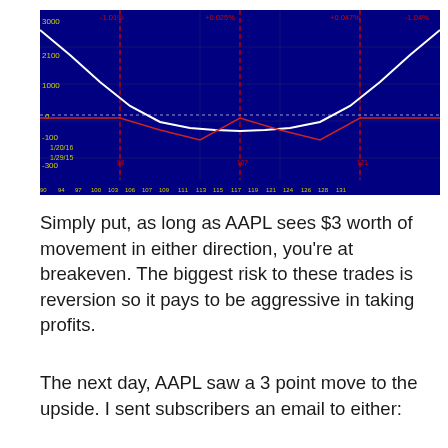[Figure (continuous-plot): Options profit/loss diagram on dark blue background showing a V-shaped white curve (long straddle payoff) and a red curved line (short straddle or stock movement), with red dashed vertical lines marking strike prices and yellow axis labels. X-axis shows stock price values roughly 90-131, Y-axis shows P&L values from about -300 to 3000. Small text labels at top in red showing percentage values like -1.01%, +0.025%, +0.047%, -1.04%. Bottom legend shows dates 1/20/16 and 1/29/15.]
Simply put, as long as AAPL sees $3 worth of movement in either direction, you're at breakeven. The biggest risk to these trades is reversion so it pays to be aggressive in taking profits.
The next day, AAPL saw a 3 point move to the upside. I sent subscribers an email to either: